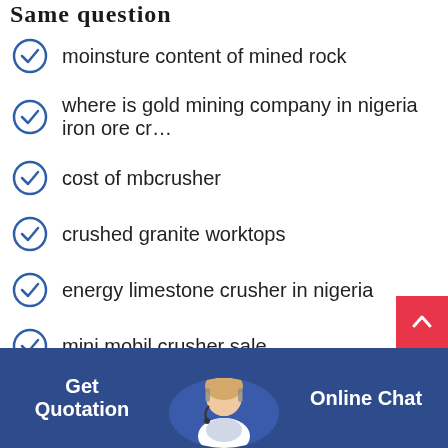Same question
moinsture content of mined rock
where is gold mining company in nigeria iron ore cr...
cost of mbcrusher
crushed granite worktops
energy limestone crusher in nigeria
mini mobil crusher sale
sink crushers in india
marble recrystalzation equipment
thu crusher plant for sale in malaysia
Get Quotation   Online Chat